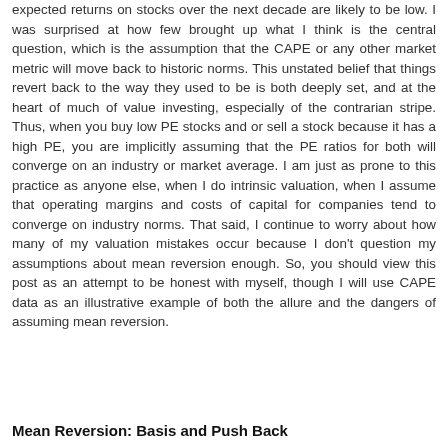expected returns on stocks over the next decade are likely to be low. I was surprised at how few brought up what I think is the central question, which is the assumption that the CAPE or any other market metric will move back to historic norms. This unstated belief that things revert back to the way they used to be is both deeply set, and at the heart of much of value investing, especially of the contrarian stripe. Thus, when you buy low PE stocks and or sell a stock because it has a high PE, you are implicitly assuming that the PE ratios for both will converge on an industry or market average. I am just as prone to this practice as anyone else, when I do intrinsic valuation, when I assume that operating margins and costs of capital for companies tend to converge on industry norms. That said, I continue to worry about how many of my valuation mistakes occur because I don't question my assumptions about mean reversion enough. So, you should view this post as an attempt to be honest with myself, though I will use CAPE data as an illustrative example of both the allure and the dangers of assuming mean reversion.
Mean Reversion: Basis and Push Back